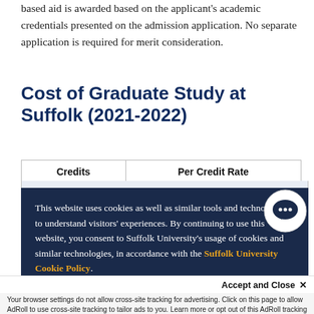based aid is awarded based on the applicant's academic credentials presented on the admission application. No separate application is required for merit consideration.
Cost of Graduate Study at Suffolk (2021-2022)
| Credits | Per Credit Rate |
| --- | --- |
This website uses cookies as well as similar tools and technologies to understand visitors' experiences. By continuing to use this website, you consent to Suffolk University's usage of cookies and similar technologies, in accordance with the Suffolk University Cookie Policy.
Accept and Close ×
Your browser settings do not allow cross-site tracking for advertising. Click on this page to allow AdRoll to use cross-site tracking to tailor ads to you. Learn more or opt out of this AdRoll tracking by clicking here. This message only appears once.